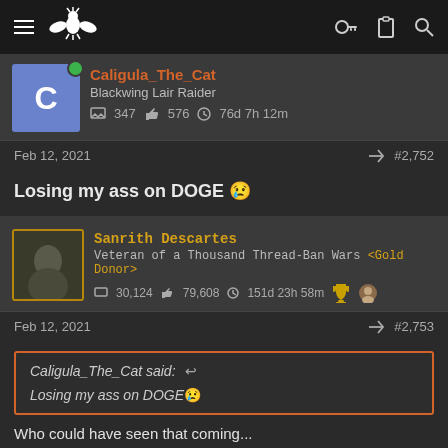Navigation bar with hamburger menu, eagle logo, key icon, clipboard icon, search icon
Caligula_The_Cat
Blackwing Lair Raider
347 comments 576 likes 76d 7h 12m
Feb 12, 2021 #2,752
Losing my ass on DOGE 😢
Sanrith Descartes
Veteran of a Thousand Thread-Ban Wars <Gold Donor>
30,124 comments 79,608 likes 151d 23h 58m
Feb 12, 2021 #2,753
Caligula_The_Cat said: ↩
Losing my ass on DOGE 😢
Who could have seen that coming...